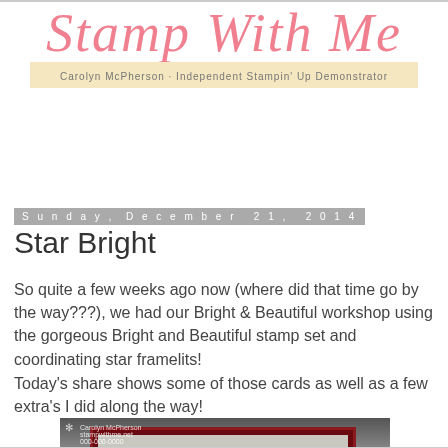[Figure (logo): Stamp With Me blog logo in pink cursive script with subtitle 'Carolyn McPherson · Independent Stampin' Up Demonstrator' on a cream/yellow band]
Sunday, December 21, 2014
Star Bright
So quite a few weeks ago now (where did that time go by the way???), we had our Bright & Beautiful workshop using the gorgeous Bright and Beautiful stamp set and coordinating star framelits!
Today's share shows some of those cards as well as a few extra's I did along the way!
[Figure (photo): Partial photo of a handmade Christmas card with dark red/maroon border and embossed star design on light colored card stock]